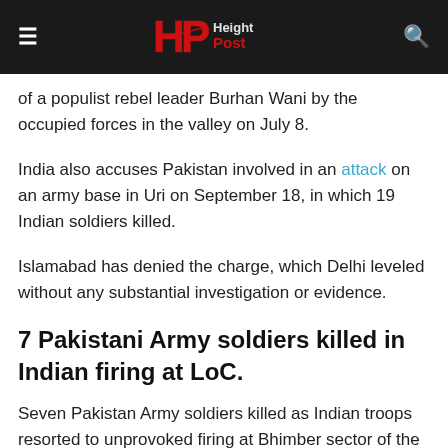Height Post
of a populist rebel leader Burhan Wani by the occupied forces in the valley on July 8.
India also accuses Pakistan involved in an attack on an army base in Uri on September 18, in which 19 Indian soldiers killed.
Islamabad has denied the charge, which Delhi leveled without any substantial investigation or evidence.
7 Pakistani Army soldiers killed in Indian firing at LoC.
Seven Pakistan Army soldiers killed as Indian troops resorted to unprovoked firing at Bhimber sector of the Line of Control (LoC) on Sunday night.